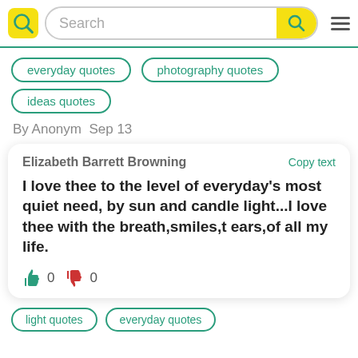Search
everyday quotes
photography quotes
ideas quotes
By Anonym  Sep 13
Elizabeth Barrett Browning
Copy text
I love thee to the level of everyday's most quiet need, by sun and candle light...I love thee with the breath,smiles,t ears,of all my life.
0  0
light quotes
everyday quotes